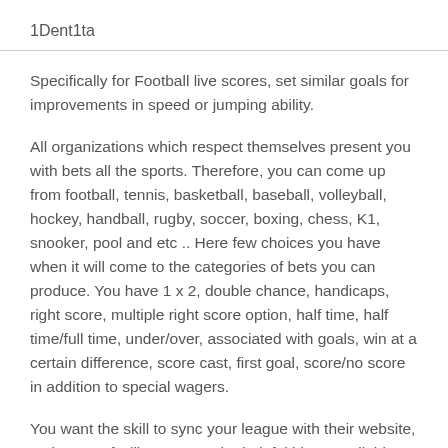1Dent1ta
Specifically for Football live scores, set similar goals for improvements in speed or jumping ability.
All organizations which respect themselves present you with bets all the sports. Therefore, you can come up from football, tennis, basketball, baseball, volleyball, hockey, handball, rugby, soccer, boxing, chess, K1, snooker, pool and etc .. Here few choices you have when it will come to the categories of bets you can produce. You have 1 x 2, double chance, handicaps, right score, multiple right score option, half time, half time/full time, under/over, associated with goals, win at a certain difference, score cast, first goal, score/no score in addition to special wagers.
You want the skill to sync your league with their website, make use of will a person who helpful ideas available